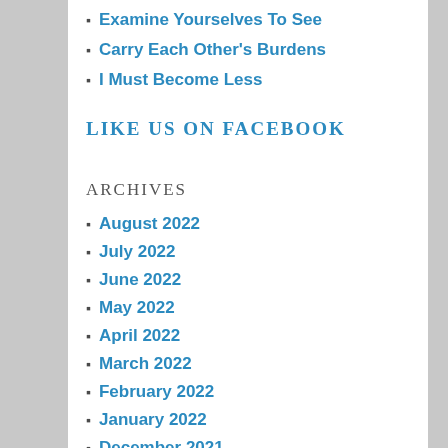Examine Yourselves To See
Carry Each Other's Burdens
I Must Become Less
LIKE US ON FACEBOOK
ARCHIVES
August 2022
July 2022
June 2022
May 2022
April 2022
March 2022
February 2022
January 2022
December 2021
November 2021
October 2021
September 2021